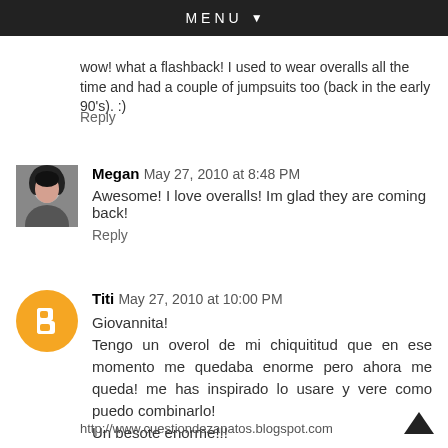MENU ▼
wow! what a flashback! I used to wear overalls all the time and had a couple of jumpsuits too (back in the early 90's). :)
Reply
Megan  May 27, 2010 at 8:48 PM
Awesome! I love overalls! Im glad they are coming back!
Reply
Titi  May 27, 2010 at 10:00 PM
Giovannita!
Tengo un overol de mi chiquititud que en ese momento me quedaba enorme pero ahora me queda! me has inspirado lo usare y vere como puedo combinarlo!
Un besote enorme!!!
Antara
http://www.cuestiondezapatos.blogspot.com